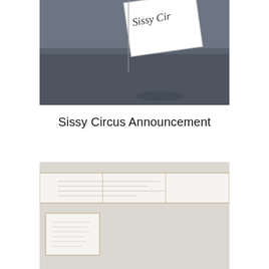[Figure (photo): A white folded card or sign with handwritten text reading 'Sissy Cir...' (Sissy Circus), propped up on a dark gray wooden surface, photographed at an angle.]
Sissy Circus Announcement
[Figure (photo): Framed white panels or boards leaning against a light gray wall, arranged horizontally; one smaller framed piece in the lower left, and a long wide board extending across the right.]